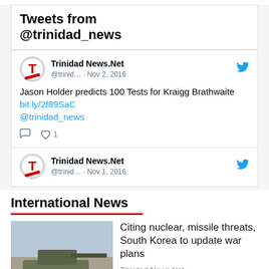Tweets from @trinidad_news
Trinidad News.Net @trinid… · Nov 2, 2016
Jason Holder predicts 100 Tests for Kraigg Brathwaite bit.ly/2f89SaC @trinidad_news
♡ 1
Trinidad News.Net @trinid… · Nov 1, 2016
International News
Citing nuclear, missile threats, South Korea to update war plans
Trinidad News.Net